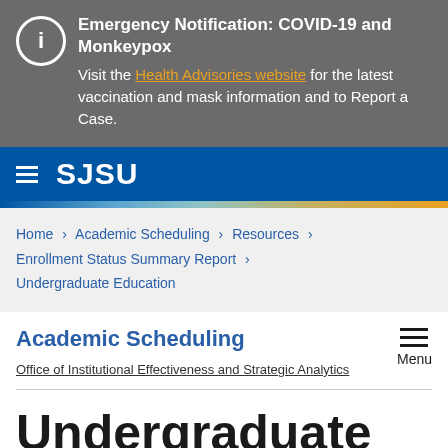Emergency Notification: COVID-19 and Monkeypox
Visit the Health Advisories website for the latest vaccination and mask information and to Report a Case.
SJSU
Home › Academic Scheduling › Resources › Enrollment Status Summary Report › Undergraduate Education
Academic Scheduling
Office of Institutional Effectiveness and Strategic Analytics
Undergraduate